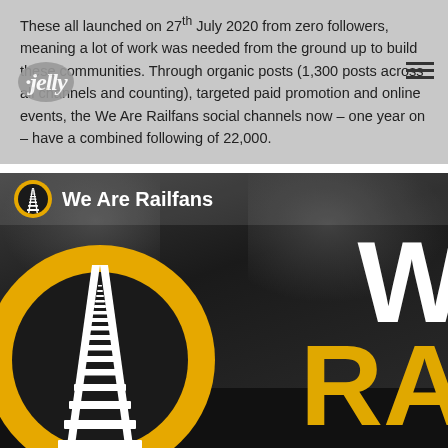These all launched on 27th July 2020 from zero followers, meaning a lot of work was needed from the ground up to build these communities. Through organic posts (1,300 posts across all channels and counting), targeted paid promotion and online events, the We Are Railfans social channels now – one year on – have a combined following of 22,000.
[Figure (screenshot): We Are Railfans Facebook page screenshot showing logo with yellow circle and white railway track icon, page name 'We Are Railfans', and large branded hero image with the full logo and 'WE ARE RAILFANS' text against a dark moody sky background with city silhouette]